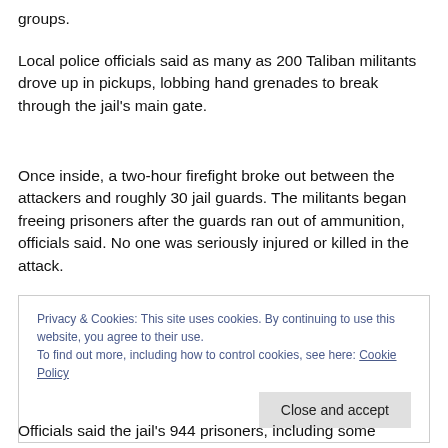groups.
Local police officials said as many as 200 Taliban militants drove up in pickups, lobbing hand grenades to break through the jail’s main gate.
Once inside, a two-hour firefight broke out between the attackers and roughly 30 jail guards. The militants began freeing prisoners after the guards ran out of ammunition, officials said. No one was seriously injured or killed in the attack.
Privacy & Cookies: This site uses cookies. By continuing to use this website, you agree to their use.
To find out more, including how to control cookies, see here: Cookie Policy
Officials said the jail’s 944 prisoners, including some